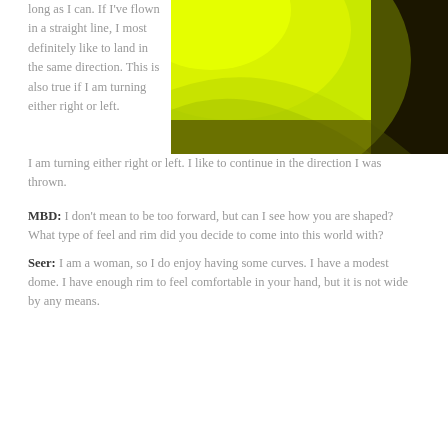long as I can.  If I've flown in a straight line, I most definitely like to land in the same direction.  This is also true if I am turning either right or left.  I like to continue in the direction I was thrown.
[Figure (photo): Close-up photo of a bright yellow-green (neon/lime) disc golf disc, showing its dome and rim against a blurred dark background.]
MBD:  I don't mean to be too forward, but can I see how you are shaped?  What type of feel and rim did you decide to come into this world with?
Seer:  I am a woman, so I do enjoy having some curves.  I have a modest dome.  I have enough rim to feel comfortable in your hand, but it is not wide by any means.